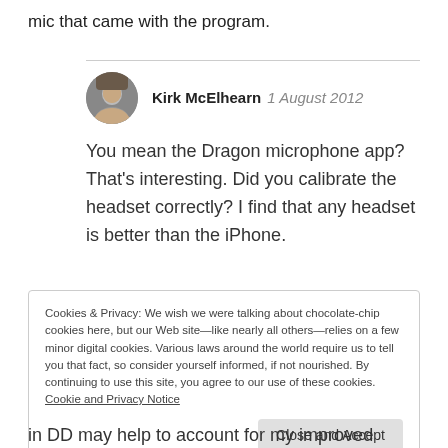mic that came with the program.
Kirk McElhearn  1 August 2012
You mean the Dragon microphone app? That's interesting. Did you calibrate the headset correctly? I find that any headset is better than the iPhone.
Cookies & Privacy: We wish we were talking about chocolate-chip cookies here, but our Web site—like nearly all others—relies on a few minor digital cookies. Various laws around the world require us to tell you that fact, so consider yourself informed, if not nourished. By continuing to use this site, you agree to our use of these cookies. Cookie and Privacy Notice
in DD may help to account for my improved